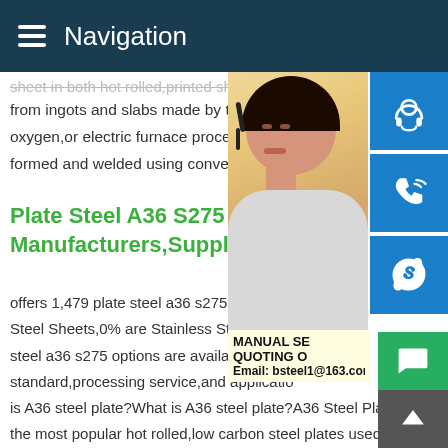Navigation
sheet in both hot rolled, printed sheets, and – from ingots and slabs made by the continuous oxygen, or electric furnace processes. This formed and welded using conventional me
Plate Steel A36 S275 - Manufacturers,Suppliers,Expo
offers 1,479 plate steel a36 s275 products. Steel Sheets, 0% are Stainless Steel Shee steel a36 s275 options are available to you standard, processing service, and application is A36 steel plate? What is A36 steel plate? A36 Steel Plate is one of the most popular hot rolled, low carbon steel plates used in manufacturing, fabrication, and repair projects. A36 Steel plate a strength and rigidity to any project at a lower price compared to other grades of steel plate. It is easy to weld, cut, form and machine. Buy A36 Steel Plate Online! Hot Cold Rolled Steel Sh
[Figure (photo): Woman with headset, customer service representative, overlaid with contact icons (headset, phone, Skype) and email address bsteel1@163.com and manual/quoting service overlay]